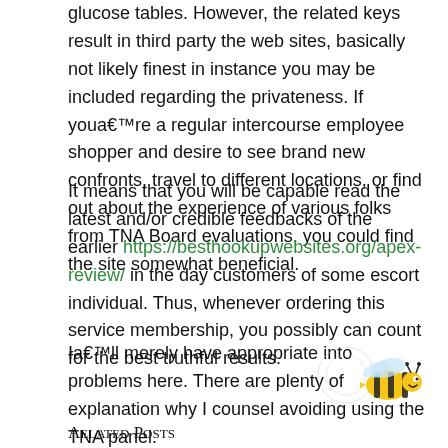glucose tables. However, the related keys result in third party the web sites, basically not likely finest in instance you may be included regarding the privateness. If youa€™re a regular intercourse employee shopper and desire to see brand new confronts, travel to different locations, or find out about the experience of various folks from TNA Board evaluations, you could find the site somewhat beneficial.
It means that you will be capable read the latest and/or credible feedbacks of the earlier https://besthookupwebsites.org/apex-review/ in the day customers of some escort individual. Thus, whenever ordering this service membership, you possibly can count for the best truthful results.
Ia€™ll merely have appropriate into problems here. There are plenty of explanation why I counsel avoiding using the TNA panel.
[Figure (illustration): Cartoon bee illustration in the bottom right area of the page]
Related Posts